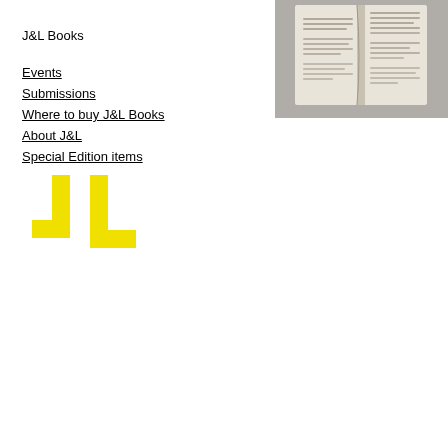J&L Books
Events
Submissions
Where to buy J&L Books
About J&L
Special Edition items
[Figure (logo): J&L Books yellow logo — two bracket-like shapes forming JL]
[Figure (photo): Open book photograph showing two pages of text, on a grey surface, viewed from above at slight angle]